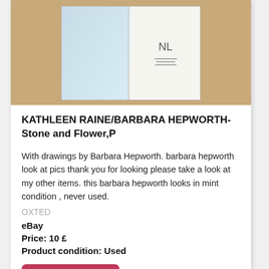[Figure (photo): Open book with blue/illustrated pages on left and white text page on right, placed on a brown wooden surface]
KATHLEEN RAINE/BARBARA HEPWORTH-Stone and Flower,P
With drawings by Barbara Hepworth. barbara hepworth look at pics thank you for looking please take a look at my other items. this barbara hepworth looks in mint condition , never used.
OXTED
eBay
Price: 10 £
Product condition: Used